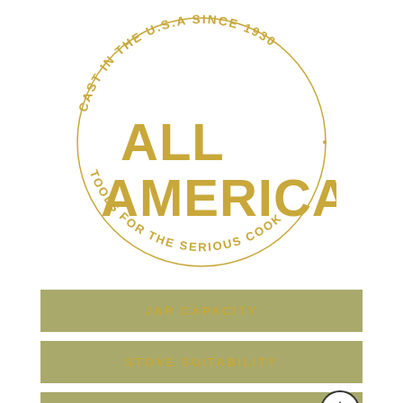[Figure (logo): All American brand logo with circular text 'CAST IN THE U.S.A SINCE 1930' on top arc and 'TOOLS FOR THE SERIOUS COOK' on bottom arc, with large gold bold text 'ALL AMERICAN' in the center]
JAR CAPACITY
STOVE SUITABILITY
PRODUCT DETAILS